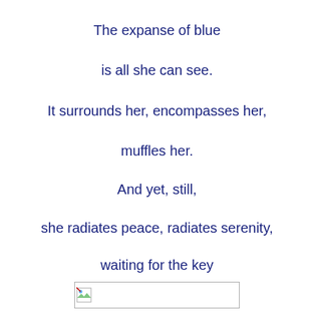The expanse of blue
is all she can see.
It surrounds her, encompasses her,
muffles her.
And yet, still,
she radiates peace, radiates serenity,
waiting for the key
to happiness.
[Figure (other): Small broken image placeholder icon at the bottom center of the page]